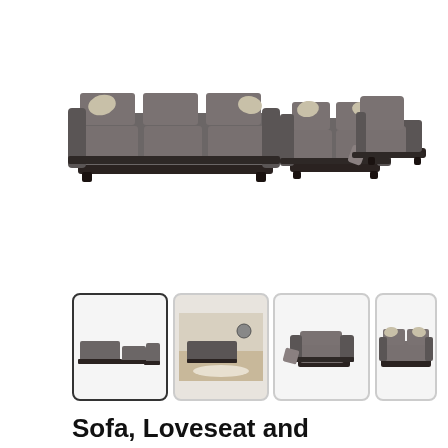[Figure (photo): Main product image showing a 3-piece living room set: a large sofa with decorative pillows on the left, a loveseat in the center, and a recliner chair on the right. All pieces are upholstered in dark gray fabric with dark brown/black trim along the base and arms.]
[Figure (photo): Thumbnail 1 (selected): Full 3-piece set — sofa, loveseat, and recliner shown together, matching the main image.]
[Figure (photo): Thumbnail 2: Room scene showing the sofa set arranged in a living room with rug, coffee table and decor.]
[Figure (photo): Thumbnail 3: Close-up of the recliner chair alone — dark gray upholstery with black base trim.]
[Figure (photo): Thumbnail 4: Close-up of the loveseat alone — dark gray upholstery with striped accent pillows.]
Sofa, Loveseat and Recliner